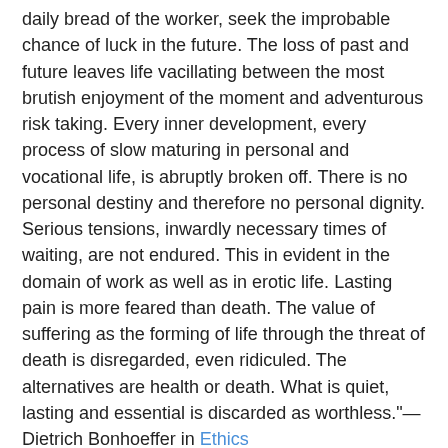daily bread of the worker, seek the improbable chance of luck in the future. The loss of past and future leaves life vacillating between the most brutish enjoyment of the moment and adventurous risk taking. Every inner development, every process of slow maturing in personal and vocational life, is abruptly broken off. There is no personal destiny and therefore no personal dignity. Serious tensions, inwardly necessary times of waiting, are not endured. This in evident in the domain of work as well as in erotic life. Lasting pain is more feared than death. The value of suffering as the forming of life through the threat of death is disregarded, even ridiculed. The alternatives are health or death. What is quiet, lasting and essential is discarded as worthless."—Dietrich Bonhoeffer in Ethics
Wow, that was written in 1940, but it could describe today. I just started Ethics over the weekend. Debbie looked at it and said, "Wow, that's a big book." She's right, it is almost 600 pages. Of course, with Bonhoeffer, you don't read quickly. I figure this will last me through the end of the year :)
UPDATE: Sorry, the links didn't work. I fixed them (I think) —